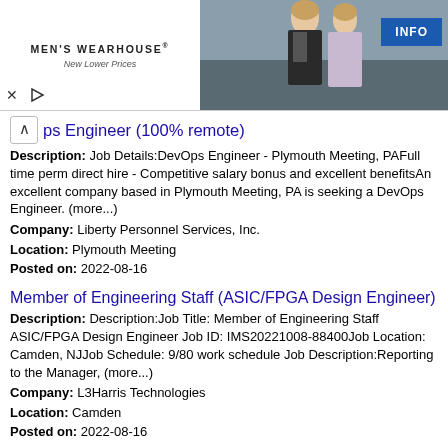[Figure (photo): Men's Wearhouse advertisement banner showing a couple in formal wear and a man in a suit, with INFO button]
ps Engineer (100% remote)
Description: Job Details:DevOps Engineer - Plymouth Meeting, PAFull time perm direct hire - Competitive salary bonus and excellent benefitsAn excellent company based in Plymouth Meeting, PA is seeking a DevOps Engineer. (more...)
Company: Liberty Personnel Services, Inc.
Location: Plymouth Meeting
Posted on: 2022-08-16
Member of Engineering Staff (ASIC/FPGA Design Engineer)
Description: Description:Job Title: Member of Engineering Staff ASIC/FPGA Design Engineer Job ID: IMS20221008-88400Job Location: Camden, NJJob Schedule: 9/80 work schedule Job Description:Reporting to the Manager, (more...)
Company: L3Harris Technologies
Location: Camden
Posted on: 2022-08-16
Design Verification Engineer-Remote
Description: Remote Design Verification EngineersThis Jobot Job is hosted by Mordy OrnguzeAre you a fit Easy Apply now by